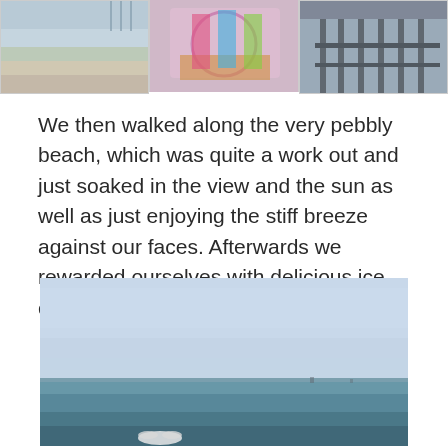[Figure (photo): Three beach/seaside photographs side by side: left shows pebbly beach and sea with a pier in background, middle shows a colorful fairground carousel, right shows the underside/legs of a seaside pier]
We then walked along the very pebbly beach, which was quite a work out and just soaked in the view and the sun as well as just enjoying the stiff breeze against our faces. Afterwards we rewarded ourselves with delicious ice creams and colourful slushies.
[Figure (photo): A wide seaside photo showing a pale blue sky taking up most of the frame, with calm turquoise-green sea below and a seagull visible at the bottom of the frame]